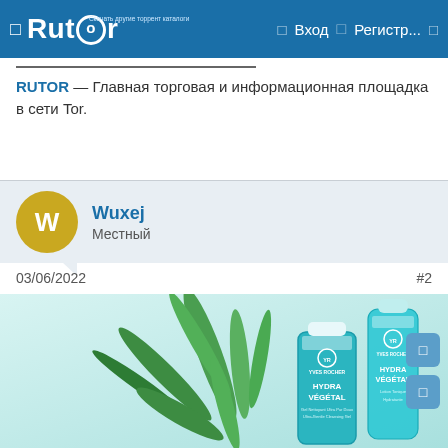Rutor — Вход  Регистр...
RUTOR — Главная торговая и информационная площадка в сети Tor.
Wuxej
Местный
03/06/2022  #2
[Figure (photo): Yves Rocher Hydra Végétal skin care products (tube and bottle) with green plant leaves on a light blue/teal background]